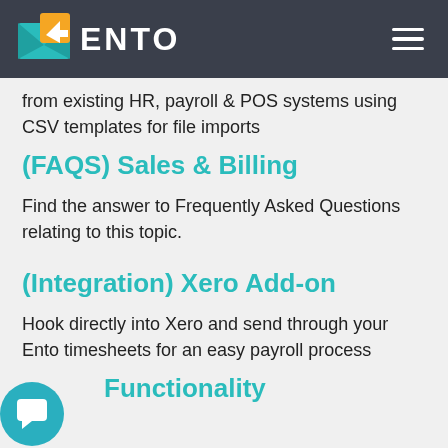ENTO
from existing HR, payroll & POS systems using CSV templates for file imports
(FAQS) Sales & Billing
Find the answer to Frequently Asked Questions relating to this topic.
(Integration) Xero Add-on
Hook directly into Xero and send through your Ento timesheets for an easy payroll process
(Compliance) Functionality
Find the answer to Frequently Asked Questions